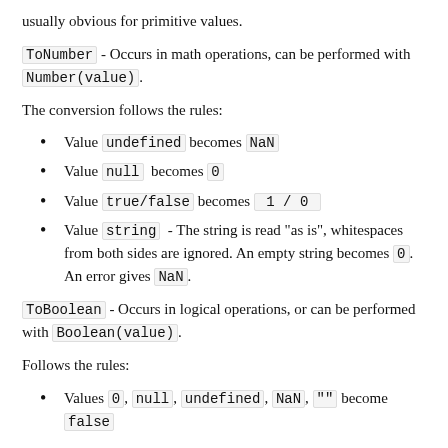usually obvious for primitive values.
ToNumber - Occurs in math operations, can be performed with Number(value).
The conversion follows the rules:
Value undefined becomes NaN
Value null becomes 0
Value true/false becomes 1 / 0
Value string - The string is read "as is", whitespaces from both sides are ignored. An empty string becomes 0. An error gives NaN.
ToBoolean - Occurs in logical operations, or can be performed with Boolean(value).
Follows the rules:
Values 0, null, undefined, NaN, "" become false